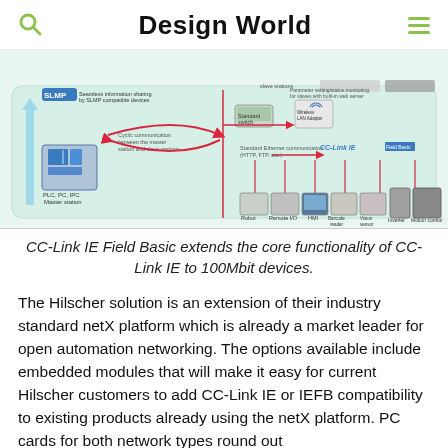Design World
[Figure (infographic): CC-Link IE Field Basic network diagram showing SLMP, standard switch, wireless LAN adapter, PLC/PC/IPC master station connected to robot, remote I/O, HMI, barcode reader, vision sensor, inverter, and motion control slave stations via cyclic communication and standard Ethernet communication (HTTP, FTP, etc.). CC-Link IE Field Basic logo visible.]
CC-Link IE Field Basic extends the core functionality of CC-Link IE to 100Mbit devices.
The Hilscher solution is an extension of their industry standard netX platform which is already a market leader for open automation networking. The options available include embedded modules that will make it easy for current Hilscher customers to add CC-Link IE or IEFB compatibility to existing products already using the netX platform. PC cards for both network types round out